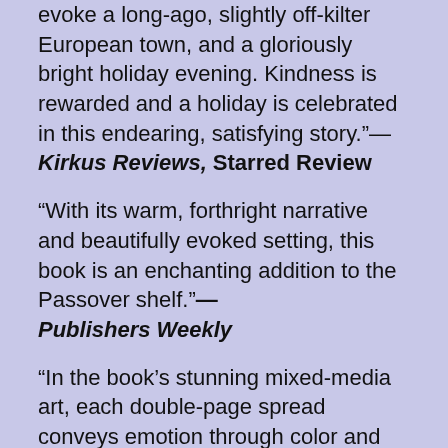evoke a long-ago, slightly off-kilter European town, and a gloriously bright holiday evening. Kindness is rewarded and a holiday is celebrated in this endearing, satisfying story."—Kirkus Reviews, Starred Review
"With its warm, forthright narrative and beautifully evoked setting, this book is an enchanting addition to the Passover shelf."—Publishers Weekly
"In the book's stunning mixed-media art, each double-page spread conveys emotion through color and light. . . . While there have been several adaptations of Peretz's tale (e.g., Shulevitz's The Magician), this version's message of hope during dark times feels especially relevant now, and the young protagonist and vividly depicted setting make